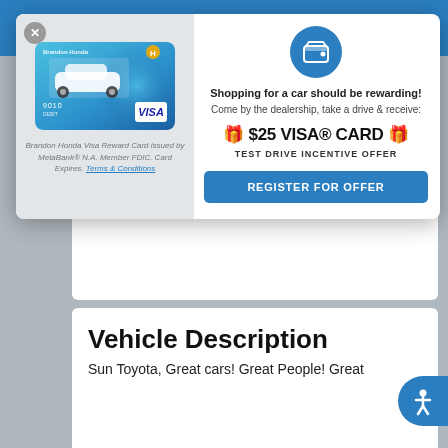☰  ✕
[Figure (screenshot): Modal popup overlay on a car dealership website showing a $25 Visa Card test drive incentive offer with a Honda Visa Reward Card image on the left and offer details on the right including a 'REGISTER FOR OFFER' button]
Shopping for a car should be rewarding! Come by the dealership, take a drive & receive:
🎁 $25 VISA® CARD 🎁
TEST DRIVE INCENTIVE OFFER
REGISTER FOR OFFER
Brandon Honda Visa Reward Card issued by MetaBank® N.A. Member FDIC. Card Expires. Terms & Conditions
Power Seats
Vehicle Description
Sun Toyota, Great cars! Great People! Great